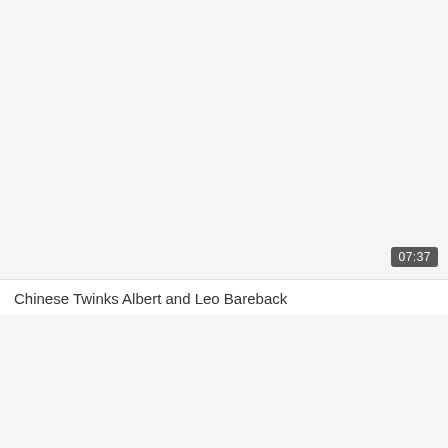[Figure (screenshot): Video thumbnail placeholder — light gray rectangle with a duration badge showing 07:37 in the bottom-right corner]
Chinese Twinks Albert and Leo Bareback
[Figure (screenshot): Second video thumbnail placeholder — light gray rectangle below the title]